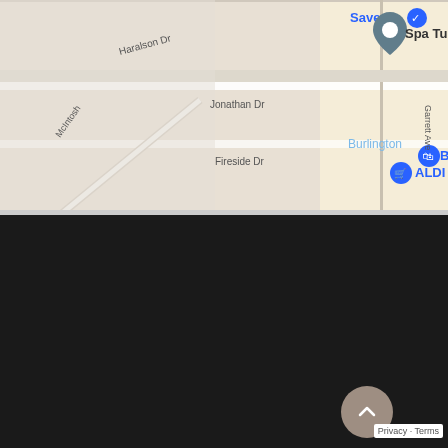[Figure (map): Google Maps screenshot showing neighborhood area with street labels: Haralson Dr, Jonathan Dr, McIntosh, Fireside Dr, Savers, Spa Tulasi, Burlington, ALDI, Best Buy, Target, Garrett Ave, and map pins]
[Figure (logo): Joules Medspa & Laser Center logo in white script font on dark background with diamond gem icon]
14840 Granada Ave
Apple Valley, MN 55124
(952) 432 0404 Call or Text
Spanish / Español